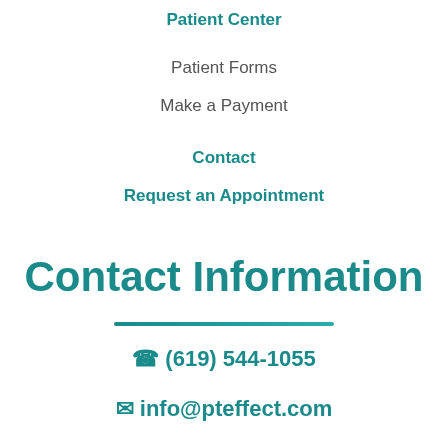Patient Center
Patient Forms
Make a Payment
Contact
Request an Appointment
Contact Information
(619) 544-1055
info@pteffect.com